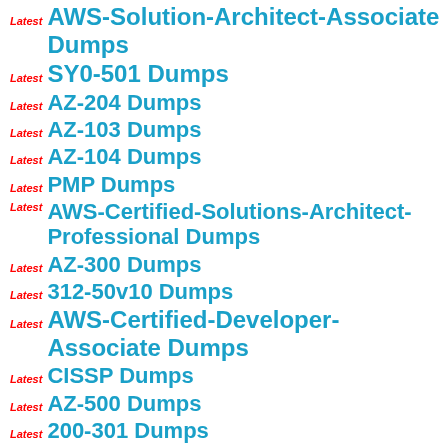Latest AWS-Solution-Architect-Associate Dumps
Latest SY0-501 Dumps
Latest AZ-204 Dumps
Latest AZ-103 Dumps
Latest AZ-104 Dumps
Latest PMP Dumps
Latest AWS-Certified-Solutions-Architect-Professional Dumps
Latest AZ-300 Dumps
Latest 312-50v10 Dumps
Latest AWS-Certified-Developer-Associate Dumps
Latest CISSP Dumps
Latest AZ-500 Dumps
Latest 200-301 Dumps
Latest 1z0-808 Dumps
Latest AWS-Certified-Cloud-Practitioner Dumps
Latest DA-100 Dumps
Latest 1z0-071 Dumps